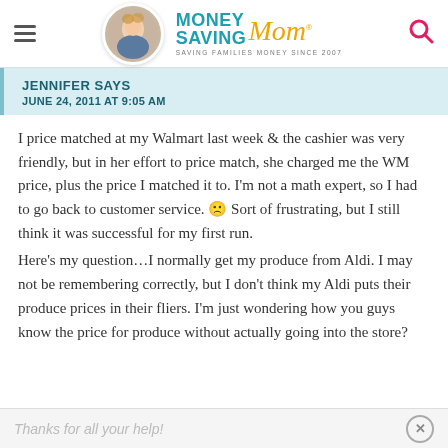Money Saving Mom® — SAVING FAMILIES MONEY SINCE 2007
JENNIFER SAYS — JUNE 24, 2011 AT 9:05 AM
I price matched at my Walmart last week & the cashier was very friendly, but in her effort to price match, she charged me the WM price, plus the price I matched it to. I'm not a math expert, so I had to go back to customer service. 🙁 Sort of frustrating, but I still think it was successful for my first run.
Here's my question…I normally get my produce from Aldi. I may not be remembering correctly, but I don't think my Aldi puts their produce prices in their fliers. I'm just wondering how you guys know the price for produce without actually going into the store?
Thanks for all your help!